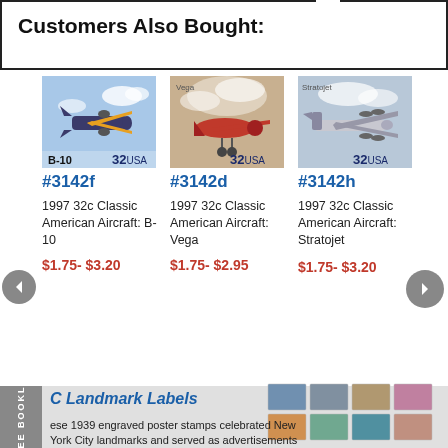Customers Also Bought:
[Figure (photo): US postage stamp 32 USA B-10 Classic American Aircraft]
#3142f
1997 32c Classic American Aircraft: B-10
$1.75- $3.20
[Figure (photo): US postage stamp 32 USA Vega Classic American Aircraft]
#3142d
1997 32c Classic American Aircraft: Vega
$1.75- $2.95
[Figure (photo): US postage stamp 32 USA Stratojet Classic American Aircraft]
#3142h
1997 32c Classic American Aircraft: Stratojet
$1.75- $3.20
[Figure (photo): Grid of NYC Landmark postage stamps]
C Landmark Labels
ese 1939 engraved poster stamps celebrated New York City landmarks and served as advertisements for the Esta...